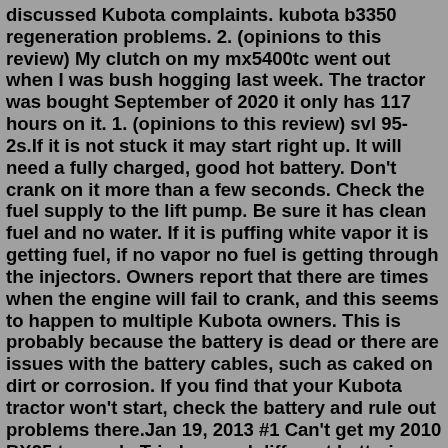discussed Kubota complaints. kubota b3350 regeneration problems. 2. (opinions to this review) My clutch on my mx5400tc went out when I was bush hogging last week. The tractor was bought September of 2020 it only has 117 hours on it. 1. (opinions to this review) svl 95-2s.If it is not stuck it may start right up. It will need a fully charged, good hot battery. Don't crank on it more than a few seconds. Check the fuel supply to the lift pump. Be sure it has clean fuel and no water. If it is puffing white vapor it is getting fuel, if no vapor no fuel is getting through the injectors. Owners report that there are times when the engine will fail to crank, and this seems to happen to multiple Kubota owners. This is probably because the battery is dead or there are issues with the battery cables, such as caked on dirt or corrosion. If you find that your Kubota tractor won't start, check the battery and rule out problems there.Jan 19, 2013 #1 Can't get my 2010 BX25 to crank. Tried several different batteries, tried jump starting from my truck, bypassed the two safety switches under the seat,